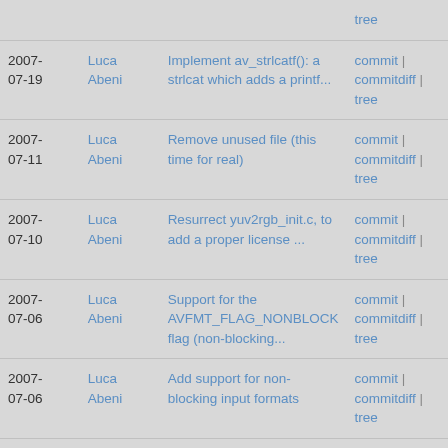| Date | Author | Description | Links |
| --- | --- | --- | --- |
|  |  | tree |  |
| 2007-07-19 | Luca Abeni | Implement av_strlcatf(): a strlcat which adds a printf... | commit | commitdiff | tree |
| 2007-07-11 | Luca Abeni | Remove unused file (this time for real) | commit | commitdiff | tree |
| 2007-07-10 | Luca Abeni | Resurrect yuv2rgb_init.c, to add a proper license ... | commit | commitdiff | tree |
| 2007-07-06 | Luca Abeni | Support for the AVFMT_FLAG_NONBLOCK flag (non-blocking... | commit | commitdiff | tree |
| 2007-07-06 | Luca Abeni | Add support for non-blocking input formats | commit | commitdiff | tree |
| 2007-07-03 | Luca Abeni | Remove unused file | commit | commitdiff | tree |
| 2007-05-21 | Luca Abeni | Do not try to set a video standard unless "-tvstd"... | commit | commitdiff |